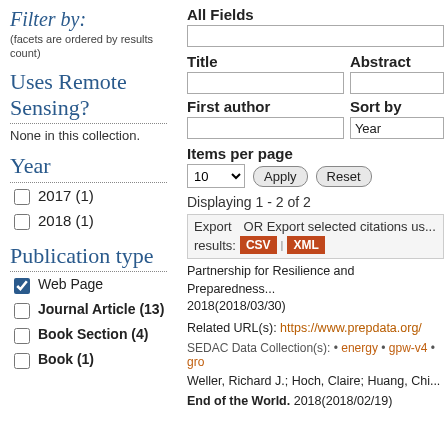Filter by:
(facets are ordered by results count)
Uses Remote Sensing?
None in this collection.
Year
2017 (1)
2018 (1)
Publication type
Web Page
Journal Article (13)
Book Section (4)
Book (1)
All Fields
Title
Abstract
First author
Sort by
Items per page
10
Apply
Reset
Displaying 1 - 2 of 2
Export   OR Export selected citations us... results: CSV | XML
Partnership for Resilience and Preparedness 2018(2018/03/30)
Related URL(s): https://www.prepdata.org/
SEDAC Data Collection(s): • energy • gpw-v4 • gro
Weller, Richard J.; Hoch, Claire; Huang, Chi
End of the World. 2018(2018/02/19)